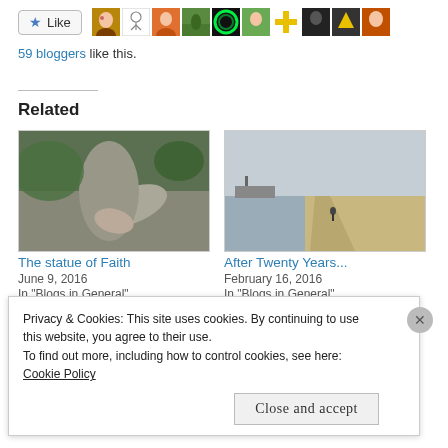[Figure (other): Like button with star icon and row of blogger avatars]
59 bloggers like this.
Related
[Figure (photo): Photo of a stone statue lying on the ground among greenery]
The statue of Faith
June 9, 2016
In "Blogs in General"
[Figure (photo): Photo of a coastal path with a person walking, sea and town in background]
After Twenty Years...
February 16, 2016
In "Blogs in General"
Privacy & Cookies: This site uses cookies. By continuing to use this website, you agree to their use.
To find out more, including how to control cookies, see here: Cookie Policy